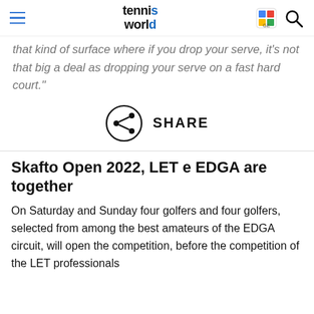tennis world
that kind of surface where if you drop your serve, it's not that big a deal as dropping your serve on a fast hard court."
[Figure (other): Share icon — circle with share/network symbol inside]
SHARE
Skafto Open 2022, LET e EDGA are together
On Saturday and Sunday four golfers and four golfers, selected from among the best amateurs of the EDGA circuit, will open the competition, before the competition of the LET professionals